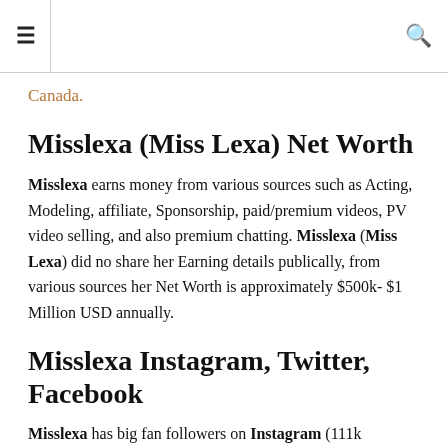≡  🔍
Canada.
Misslexa (Miss Lexa) Net Worth
Misslexa earns money from various sources such as Acting, Modeling, affiliate, Sponsorship, paid/premium videos, PV video selling, and also premium chatting. Misslexa (Miss Lexa) did no share her Earning details publically, from various sources her Net Worth is approximately $500k- $1 Million USD annually.
Misslexa Instagram, Twitter, Facebook
Misslexa has big fan followers on Instagram (111k